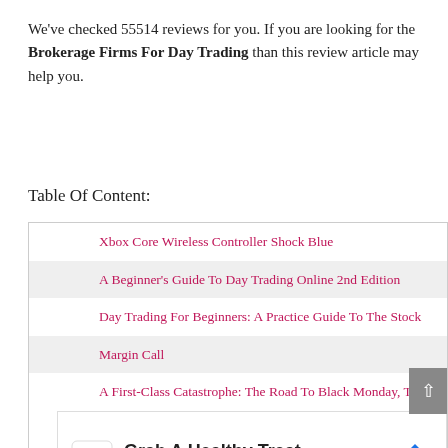We've checked 55514 reviews for you. If you are looking for the Brokerage Firms For Day Trading than this review article may help you.
Table Of Content:
Xbox Core Wireless Controller Shock Blue
A Beginner's Guide To Day Trading Online 2nd Edition
Day Trading For Beginners: A Practice Guide To The Stock
Margin Call
A First-Class Catastrophe: The Road To Black Monday, The
[Figure (other): Advertisement for Smoothie King showing logo, text 'Grab A Healthy Treat' and 'Smoothie King' with a navigation arrow icon]